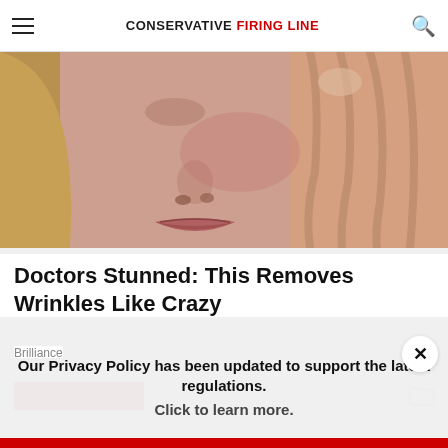CONSERVATIVE FIRING LINE
[Figure (photo): Close-up photo of a woman's face touching her cheek/eye with her hand, showing skin detail]
Doctors Stunned: This Removes Wrinkles Like Crazy
Brilliance
Our Privacy Policy has been updated to support the latest regulations. Click to learn more.